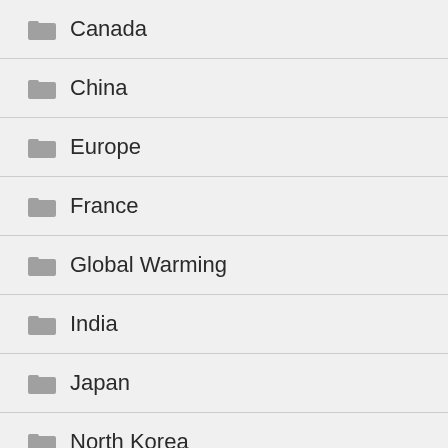Canada
China
Europe
France
Global Warming
India
Japan
North Korea
Nuclear
Radiation